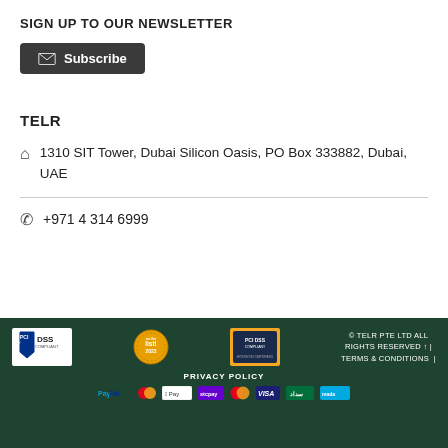SIGN UP TO OUR NEWSLETTER
[Figure (other): Subscribe button with envelope icon]
TELR
1310 SIT Tower, Dubai Silicon Oasis, PO Box 333882, Dubai, UAE
+971 4 314 6999
© TELR PTE LTD ALL RIGHTS RESERVED | TERMS & CONDITIONS | PRIVACY POLICY